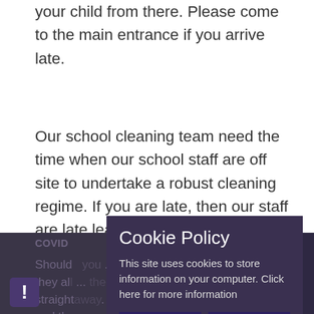your child from there. Please come to the main entrance if you arrive late.
Our school cleaning team need the time when our school staff are off site to undertake a robust cleaning regime. If you are late, then our staff are late leaving and therefore the cleaning programme is compromised.
COVID
Should... cookies... they all... then... straight away. If you child is school and the... will be more returning to create
[Figure (screenshot): Cookie Policy modal overlay on a dark purple background. Title: 'Cookie Policy'. Body text: 'This site uses cookies to store information on your computer. Click here for more information'. Two buttons: 'Allow Cookies' and 'Deny Cookies'. A close X button on the right. Warning icon (!) in lower left.]